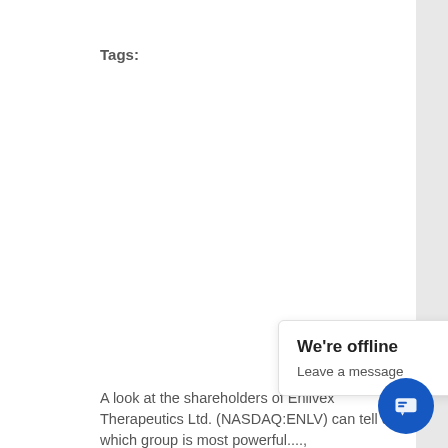Tags:
A look at the shareholders of Enlivex Therapeutics Ltd. (NASDAQ:ENLV) can tell us which group is most powerful....
[Figure (other): Broken image thumbnail with red link text: What You Need To Know About Enlivex Therapeutics Ltd.'s (NASDAQ:ENL... Investor Composition]
A look at the shareholders of Enlivex Therapeutics Ltd. (NASDAQ:ENLV) can tell us which group is most powerful....
We're offline
Leave a message